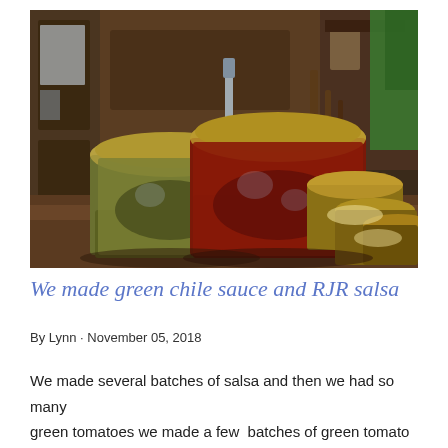[Figure (photo): Photograph of several mason jars filled with salsa and green chile sauce, sitting on a table. Two large jars in the foreground (one green, one dark red) with a metal utensil, and multiple smaller sealed jars in the background right.]
We made green chile sauce and RJR salsa
By Lynn · November 05, 2018
We made several batches of salsa and then we had so many green tomatoes we made a few  batches of green tomato chile